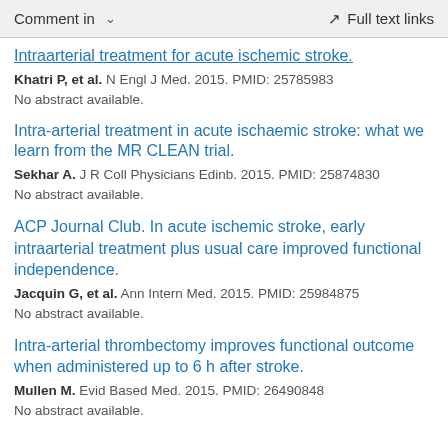Comment in   ˅   Full text links
Intraarterial treatment for acute ischemic stroke.
Khatri P, et al. N Engl J Med. 2015. PMID: 25785983
No abstract available.
Intra-arterial treatment in acute ischaemic stroke: what we learn from the MR CLEAN trial.
Sekhar A. J R Coll Physicians Edinb. 2015. PMID: 25874830
No abstract available.
ACP Journal Club. In acute ischemic stroke, early intraarterial treatment plus usual care improved functional independence.
Jacquin G, et al. Ann Intern Med. 2015. PMID: 25984875
No abstract available.
Intra-arterial thrombectomy improves functional outcome when administered up to 6 h after stroke.
Mullen M. Evid Based Med. 2015. PMID: 26490848
No abstract available.